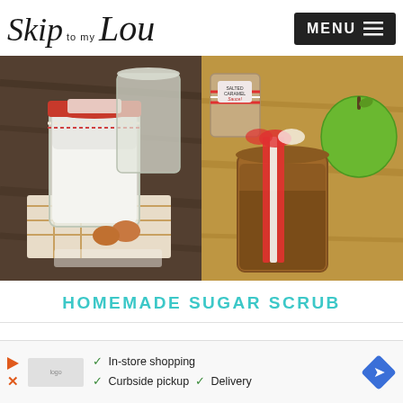Skip to my Lou — MENU
[Figure (photo): Two food photos side by side: left shows a mason jar filled with white sugar scrub topped with red fabric and twine, with eggs and flour in background; right shows a jar of salted caramel sauce with red and white striped ribbon and a green apple.]
HOMEMADE SUGAR SCRUB
[Figure (other): Advertisement banner with play and close icons, store logo, checkmarks listing In-store shopping, Curbside pickup, Delivery, and a blue diamond navigation arrow.]